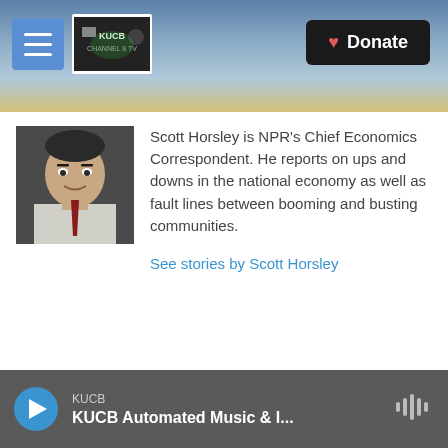[Figure (screenshot): KUCB website header banner with mountain landscape background]
[Figure (photo): Headshot photo of Scott Horsley, a man in a white shirt and red tie]
Scott Horsley is NPR's Chief Economics Correspondent. He reports on ups and downs in the national economy as well as fault lines between booming and busting communities.
See stories by Scott Horsley
KUCB | KUCB Automated Music & I...